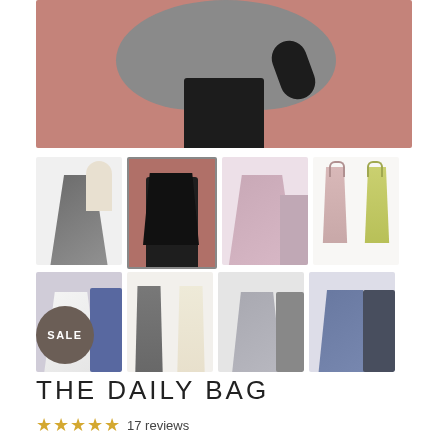[Figure (photo): Hero image of a person holding a large grey slouchy bag against a terracotta/mauve wall background]
[Figure (photo): 8 thumbnail images of the daily bag in various colors (grey, black, pink, yellow-green, white, cream, light grey, blue-grey) shown on models or displayed hanging]
SALE
THE DAILY BAG
★★★★★ 17 reviews